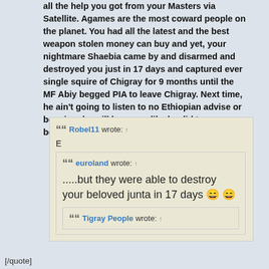all the help you got from your Masters via Satellite. Agames are the most coward people on the planet. You had all the latest and the best weapon stolen money can buy and yet, your nightmare Shaebia came by and disarmed and destroyed you just in 17 days and captured ever single squire of Chigray for 9 months until the MF Abiy begged PIA to leave Chigray. Next time, he ain't going to listen to no Ethiopian advise or begging; he will bury you like he did to your beloved Siyum and Abay.
Robel11 wrote: ↑
E
euroland wrote: ↑
.....but they were able to destroy your beloved junta in 17 days 😄😄
Tigray People wrote: ↑
[/quote]